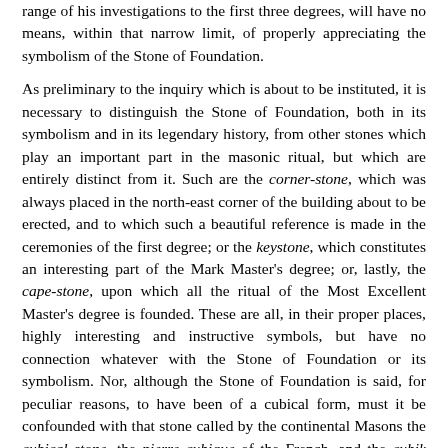range of his investigations to the first three degrees, will have no means, within that narrow limit, of properly appreciating the symbolism of the Stone of Foundation.
As preliminary to the inquiry which is about to be instituted, it is necessary to distinguish the Stone of Foundation, both in its symbolism and in its legendary history, from other stones which play an important part in the masonic ritual, but which are entirely distinct from it. Such are the corner-stone, which was always placed in the north-east corner of the building about to be erected, and to which such a beautiful reference is made in the ceremonies of the first degree; or the keystone, which constitutes an interesting part of the Mark Master's degree; or, lastly, the cape-stone, upon which all the ritual of the Most Excellent Master's degree is founded. These are all, in their proper places, highly interesting and instructive symbols, but have no connection whatever with the Stone of Foundation or its symbolism. Nor, although the Stone of Foundation is said, for peculiar reasons, to have been of a cubical form, must it be confounded with that stone called by the continental Masons the cubical stone--the pierre cubique of the French, and the cubik stein of the German Masons, but which in the English system is known as the perfect ashlar.
The Stone of Foundation has a legendary history and a symbolic signification which are peculiar to itself, and which differ from the history and meaning which belong to these other stones.